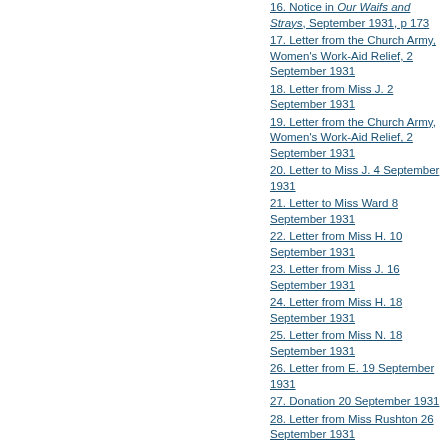16. Notice in Our Waifs and Strays, September 1931, p 173
17. Letter from the Church Army, Women's Work-Aid Relief, 2 September 1931
18. Letter from Miss J. 2 September 1931
19. Letter from the Church Army, Women's Work-Aid Relief, 2 September 1931
20. Letter to Miss J. 4 September 1931
21. Letter to Miss Ward 8 September 1931
22. Letter from Miss H. 10 September 1931
23. Letter from Miss J. 16 September 1931
24. Letter from Miss H. 18 September 1931
25. Letter from Miss N. 18 September 1931
26. Letter from E. 19 September 1931
27. Donation 20 September 1931
28. Letter from Miss Rushton 26 September 1931
29. Letter from Miss Rushton 29 September 1931
30. Letter from Miss N. 2